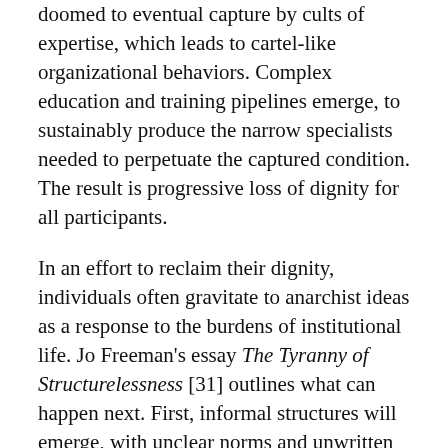doomed to eventual capture by cults of expertise, which leads to cartel-like organizational behaviors. Complex education and training pipelines emerge, to sustainably produce the narrow specialists needed to perpetuate the captured condition. The result is progressive loss of dignity for all participants.
In an effort to reclaim their dignity, individuals often gravitate to anarchist ideas as a response to the burdens of institutional life. Jo Freeman's essay The Tyranny of Structurelessness [31] outlines what can happen next. First, informal structures will emerge, with unclear norms and unwritten rules. The authority within the group will be concentrated to a select few elites and status games will ensue as individuals in the group jockey for position. Once this happens, the group loses focus on its original goals, making progress next to impossible.
The challenge of the Gaia governance regime is to